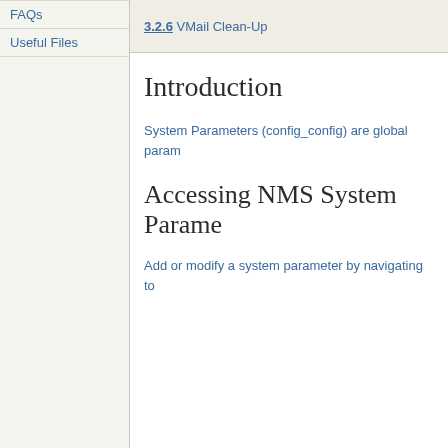FAQs
Useful Files
3.2.6 VMail Clean-Up
Introduction
System Parameters (config_config) are global param…
Accessing NMS System Parame…
Add or modify a system parameter by navigating to…